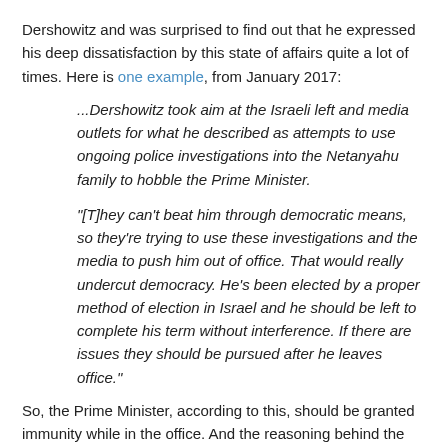Dershowitz and was surprised to find out that he expressed his deep dissatisfaction by this state of affairs quite a lot of times. Here is one example, from January 2017:
...Dershowitz took aim at the Israeli left and media outlets for what he described as attempts to use ongoing police investigations into the Netanyahu family to hobble the Prime Minister.
"[T]hey can't beat him through democratic means, so they're trying to use these investigations and the media to push him out of office. That would really undercut democracy. He's been elected by a proper method of election in Israel and he should be left to complete his term without interference. If there are issues they should be pursued after he leaves office."
So, the Prime Minister, according to this, should be granted immunity while in the office. And the reasoning behind the idea is:
"The Prime Minister in this case has to work 24/7